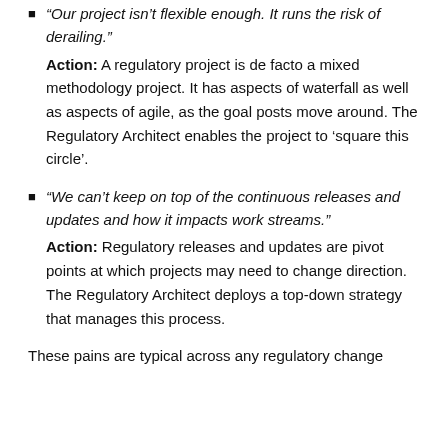“Our project isn’t flexible enough. It runs the risk of derailing.”
Action: A regulatory project is de facto a mixed methodology project. It has aspects of waterfall as well as aspects of agile, as the goal posts move around. The Regulatory Architect enables the project to ‘square this circle’.
“We can’t keep on top of the continuous releases and updates and how it impacts work streams.”
Action: Regulatory releases and updates are pivot points at which projects may need to change direction. The Regulatory Architect deploys a top-down strategy that manages this process.
These pains are typical across any regulatory change